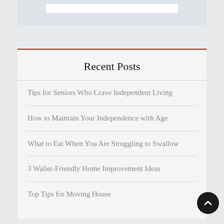Recent Posts
Tips for Seniors Who Crave Independent Living
How to Maintain Your Independence with Age
What to Eat When You Are Struggling to Swallow
3 Wallet-Friendly Home Improvement Ideas
Top Tips for Moving House